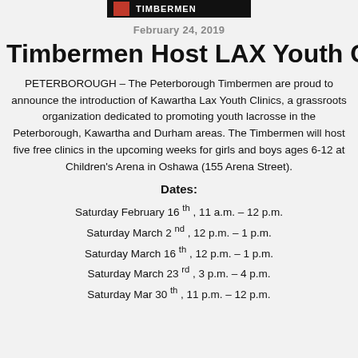[Figure (logo): Timbermen logo banner - dark background with red element]
February 24, 2019
Timbermen Host LAX Youth Clinic
PETERBOROUGH – The Peterborough Timbermen are proud to announce the introduction of Kawartha Lax Youth Clinics, a grassroots organization dedicated to promoting youth lacrosse in the Peterborough, Kawartha and Durham areas. The Timbermen will host five free clinics in the upcoming weeks for girls and boys ages 6-12 at Children's Arena in Oshawa (155 Arena Street).
Dates:
Saturday February 16 th , 11 a.m. – 12 p.m.
Saturday March 2 nd , 12 p.m. – 1 p.m.
Saturday March 16 th , 12 p.m. – 1 p.m.
Saturday March 23 rd , 3 p.m. – 4 p.m.
Saturday Mar 30 th , 11 p.m. – 12 p.m.